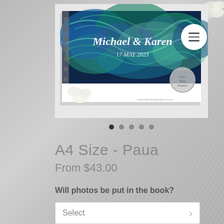[Figure (photo): A spiral-bound guest book with a paua (abalone) shell iridescent blue-green cover design. The cover has cursive text reading 'Michael & Karen' with a date below. White flowers visible at bottom left corner. A circular stamp/seal visible at bottom right of the book.]
[Figure (other): Carousel navigation dots — 5 dots, first one filled/active dark, remaining lighter gray]
A4 Size - Paua
From $43.00
Will photos be put in the book?
Select